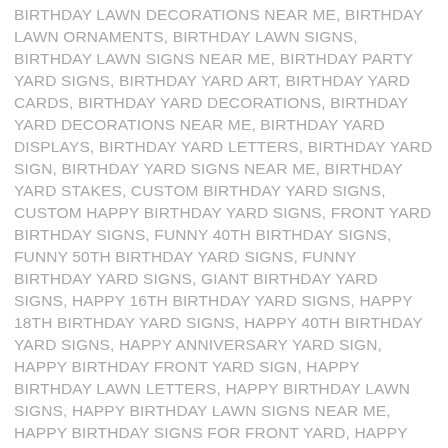BIRTHDAY LAWN DECORATIONS NEAR ME, BIRTHDAY LAWN ORNAMENTS, BIRTHDAY LAWN SIGNS, BIRTHDAY LAWN SIGNS NEAR ME, BIRTHDAY PARTY YARD SIGNS, BIRTHDAY YARD ART, BIRTHDAY YARD CARDS, BIRTHDAY YARD DECORATIONS, BIRTHDAY YARD DECORATIONS NEAR ME, BIRTHDAY YARD DISPLAYS, BIRTHDAY YARD LETTERS, BIRTHDAY YARD SIGN, BIRTHDAY YARD SIGNS NEAR ME, BIRTHDAY YARD STAKES, CUSTOM BIRTHDAY YARD SIGNS, CUSTOM HAPPY BIRTHDAY YARD SIGNS, FRONT YARD BIRTHDAY SIGNS, FUNNY 40TH BIRTHDAY SIGNS, FUNNY 50TH BIRTHDAY YARD SIGNS, FUNNY BIRTHDAY YARD SIGNS, GIANT BIRTHDAY YARD SIGNS, HAPPY 16TH BIRTHDAY YARD SIGNS, HAPPY 18TH BIRTHDAY YARD SIGNS, HAPPY 40TH BIRTHDAY YARD SIGNS, HAPPY ANNIVERSARY YARD SIGN, HAPPY BIRTHDAY FRONT YARD SIGN, HAPPY BIRTHDAY LAWN LETTERS, HAPPY BIRTHDAY LAWN SIGNS, HAPPY BIRTHDAY LAWN SIGNS NEAR ME, HAPPY BIRTHDAY SIGNS FOR FRONT YARD, HAPPY BIRTHDAY SIGNS FOR THE YARD, HAPPY BIRTHDAY SIGNS IN YARD, HAPPY BIRTHDAY YARD, HAPPY BIRTHDAY YARD DECORATIONS,